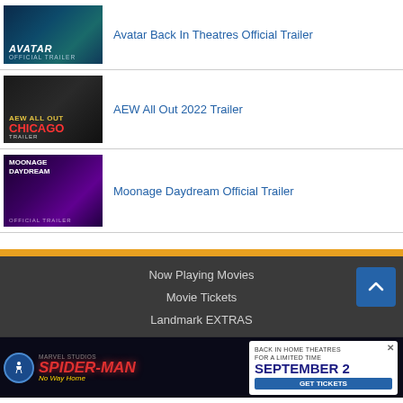Avatar Back In Theatres Official Trailer
AEW All Out 2022 Trailer
Moonage Daydream Official Trailer
Now Playing Movies
Movie Tickets
Landmark EXTRAS
[Figure (screenshot): Spider-Man No Way Home advertisement banner with accessibility button]